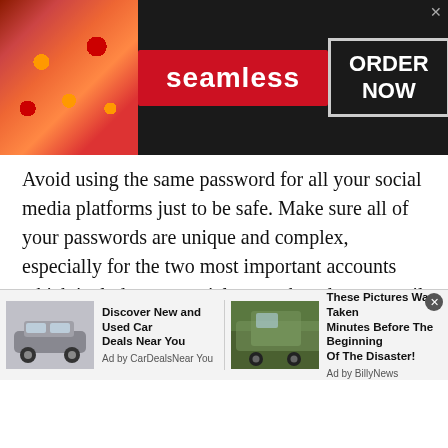[Figure (screenshot): Seamless food delivery advertisement banner with pizza image on left, red Seamless logo in center, and ORDER NOW button in white box on dark background]
Avoid using the same password for all your social media platforms just to be safe. Make sure all of your passwords are unique and complex, especially for the two most important accounts which include your social network and your email account.
Once a hacker gains control of your social media account, your friends can also be scammed on the internet. Hence, a strong password is not just necessary for your safety, but also for the safety of your friends and contacts
[Figure (screenshot): Two advertisement items at bottom: 'Discover New and Used Car Deals Near You' by CarDealsNearYou, and 'These Pictures Was Taken Minutes Before The Beginning Of The Disaster!' by BillyNews]